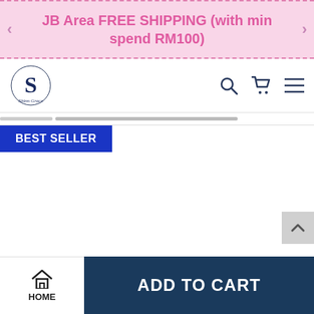JB Area FREE SHIPPING (with min spend RM100)
[Figure (logo): Shinn Grace store logo with stylized S letter]
BEST SELLER
ADD TO CART